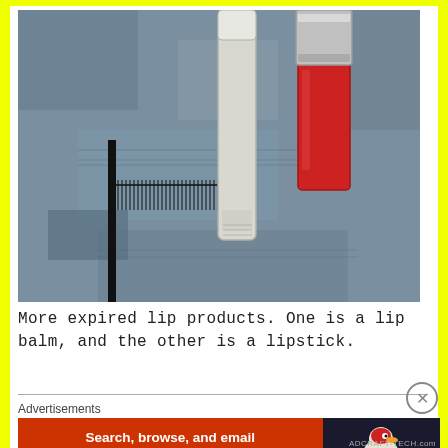[Figure (photo): Photo of two expired lip products lying on a blue/grey textile or denim fabric. One product is a clear/white lip balm stick and the other is a red lipstick with a silver cap. A black fine-tooth comb is visible partially underneath the products.]
More expired lip products. One is a lip balm, and the other is a lipstick.
Advertisements
[Figure (screenshot): DuckDuckGo advertisement banner. Left section is orange/red with text 'Search, browse, and email with more privacy. All in One Free App'. Right section is dark with the DuckDuckGo duck logo and 'DuckDuckGo' text.]